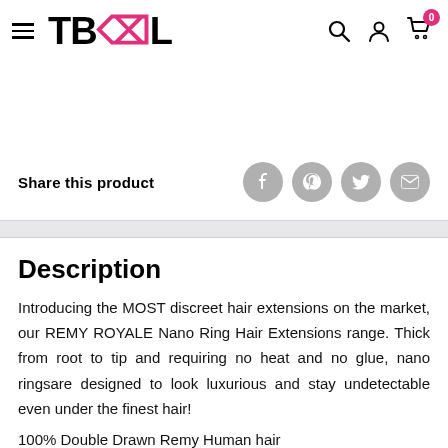TBL — navigation header with hamburger menu, logo, search, account, and cart icons
Share this product
[Figure (other): Four social share icon circles (Facebook, Pinterest, Twitter, Email) in gray]
Description
Introducing the MOST discreet hair extensions on the market, our REMY ROYALE Nano Ring Hair Extensions range. Thick from root to tip and requiring no heat and no glue, nano ringsare designed to look luxurious and stay undetectable even under the finest hair!
100% Double Drawn Remy Human hair